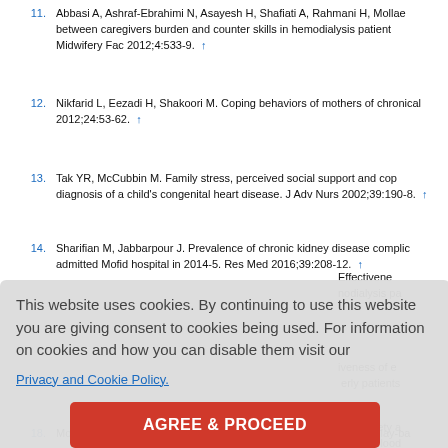11. Abbasi A, Ashraf-Ebrahimi N, Asayesh H, Shafiati A, Rahmani H, Mollae... between caregivers burden and counter skills in hemodialysis patient... Midwifery Fac 2012;4:533-9. ↑
12. Nikfarid L, Eezadi H, Shakoori M. Coping behaviors of mothers of chronical... 2012;24:53-62. ↑
13. Tak YR, McCubbin M. Family stress, perceived social support and cop... diagnosis of a child's congenital heart disease. J Adv Nurs 2002;39:190-8. ↑
14. Sharifian M, Jabbarpour J. Prevalence of chronic kidney disease complic... admitted Mofid hospital in 2014-5. Res Med 2016;39:208-12. ↑
This website uses cookies. By continuing to use this website you are giving consent to cookies being used. For information on cookies and how you can disable them visit our Privacy and Cookie Policy. AGREE & PROCEED
18. Mohammadi A, Hassani Mehrabian A, Damavandi Sh A. Effect of play-ba...